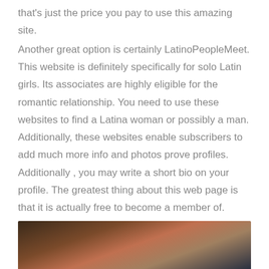that's just the price you pay to use this amazing site.
Another great option is certainly LatinoPeopleMeet. This website is definitely specifically for solo Latin girls. Its associates are highly eligible for the romantic relationship. You need to use these websites to find a Latina woman or possibly a man. Additionally, these websites enable subscribers to add much more info and photos prove profiles. Additionally , you may write a short bio on your profile. The greatest thing about this web page is that it is actually free to become a member of.
[Figure (photo): Partial view of a person's face and hair, close-up, dark blurred background with warm bokeh lighting]